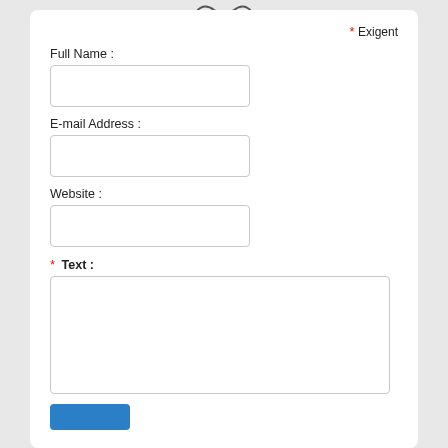[Figure (screenshot): A web form with fields for Full Name, E-mail Address, Website, and Text (required), with a submit button. A red asterisk indicates required fields labeled 'Exigent'. Input fields shown as empty white boxes with gray borders.]